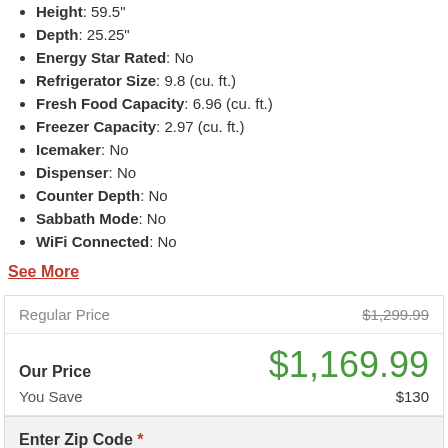Height: 59.5"
Depth: 25.25"
Energy Star Rated: No
Refrigerator Size: 9.8 (cu. ft.)
Fresh Food Capacity: 6.96 (cu. ft.)
Freezer Capacity: 2.97 (cu. ft.)
Icemaker: No
Dispenser: No
Counter Depth: No
Sabbath Mode: No
WiFi Connected: No
See More
| Regular Price | $1,299.99 |
| Our Price | $1,169.99 |
| You Save | $130 |
Enter Zip Code * For delivery options and item availability.